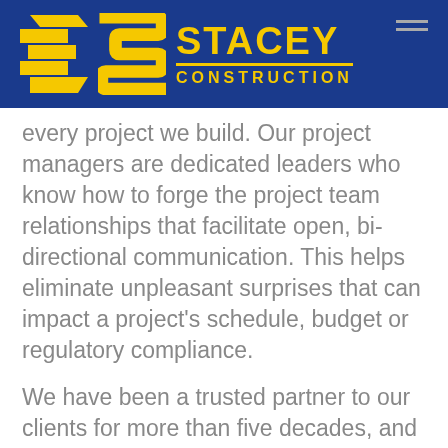[Figure (logo): Stacey Construction logo with yellow S emblem and yellow text on dark blue background, with hamburger menu icon]
every project we build. Our project managers are dedicated leaders who know how to forge the project team relationships that facilitate open, bi-directional communication. This helps eliminate unpleasant surprises that can impact a project's schedule, budget or regulatory compliance.
We have been a trusted partner to our clients for more than five decades, and our track record of successful clean project delivery is unparalleled in the Intermountain West region.
Full Service Utah Cl...